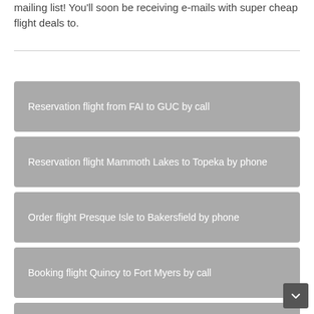mailing list! You'll soon be receiving e-mails with super cheap flight deals to.
Reservation flight from FAI to GUC by call
Reservation flight Mammoth Lakes to Topeka by phone
Order flight Presque Isle to Bakersfield by phone
Booking flight Quincy to Fort Myers by call
Booking flight from MLU to VDZ by call
Book flight from IAG to ACV by call